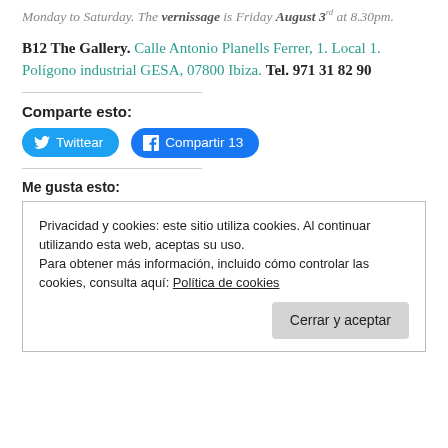Monday to Saturday. The vernissage is Friday August 3rd at 8.30pm.
B12 The Gallery. Calle Antonio Planells Ferrer, 1. Local 1. Polígono industrial GESA, 07800 Ibiza. Tel. 971 31 82 90
Comparte esto:
[Figure (other): Twitter and Facebook share buttons: Twittear and Compartir 13]
Me gusta esto:
Privacidad y cookies: este sitio utiliza cookies. Al continuar utilizando esta web, aceptas su uso. Para obtener más información, incluido cómo controlar las cookies, consulta aquí: Política de cookies
Cerrar y aceptar